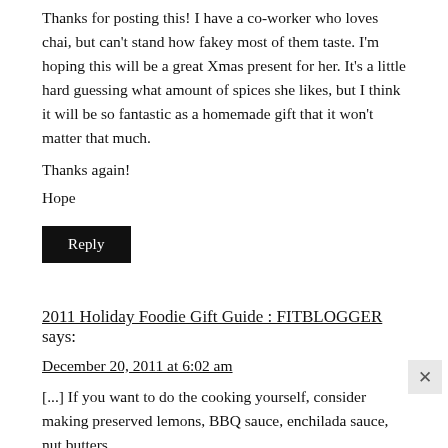Thanks for posting this! I have a co-worker who loves chai, but can't stand how fakey most of them taste. I'm hoping this will be a great Xmas present for her. It's a little hard guessing what amount of spices she likes, but I think it will be so fantastic as a homemade gift that it won't matter that much.
Thanks again!
Hope
Reply
2011 Holiday Foodie Gift Guide : FITBLOGGER says:
December 20, 2011 at 6:02 am
[...] If you want to do the cooking yourself, consider making preserved lemons, BBQ sauce, enchilada sauce, nut butters (my two favorites), energy truffles, or a chai concentrate. [...]